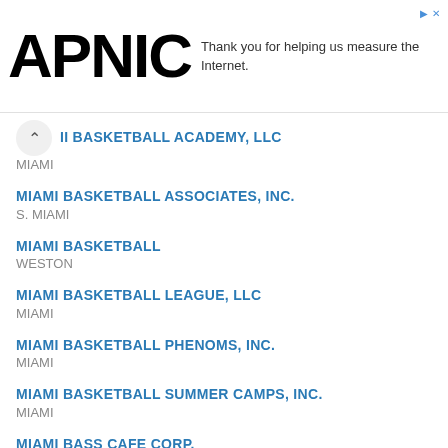[Figure (logo): APNIC logo in large black bold text with advertisement banner: 'Thank you for helping us measure the Internet.']
II BASKETBALL ACADEMY, LLC
MIAMI
MIAMI BASKETBALL ASSOCIATES, INC.
S. MIAMI
MIAMI BASKETBALL
WESTON
MIAMI BASKETBALL LEAGUE, LLC
MIAMI
MIAMI BASKETBALL PHENOMS, INC.
MIAMI
MIAMI BASKETBALL SUMMER CAMPS, INC.
MIAMI
MIAMI BASS CAFE CORP.
MIAMI